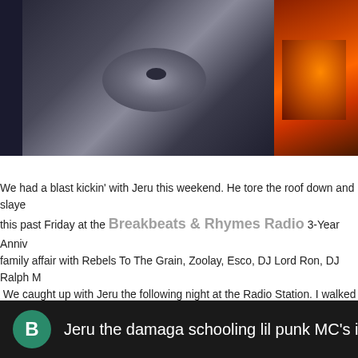[Figure (photo): Black and white photo collage: left panel shows close-up face/eye in grayscale, right panel shows orange/red flame or abstract image]
We had a blast kickin' with Jeru this weekend. He tore the roof down and slayed this past Friday at the Breakbeats & Rhymes Radio 3-Year Anniversary, a family affair with Rebels To The Grain, Zoolay, Esco, DJ Lord Ron, DJ Ralph M. We caught up with Jeru the following night at the Radio Station. I walked in to around Jeru at the roundtable as he shared stories of touring, Hip Hop, foreign know it was mandatory to get a few joints autographed. First thing he said wh was "Yo, I still go all of mine." What a refreshing thing to hear! 2 hours went b thing you know, he's on the air droppin' more jewels on us. The man never hes and wisdom with anybody willing to listen. Make sure you peep the archives H for a short clip of the show.
Jeru the damaga schooling lil punk MC's in Pasad